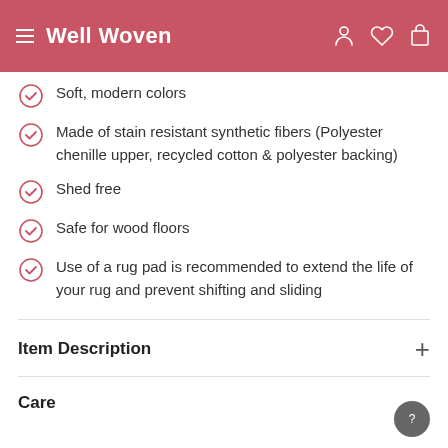Well Woven
Soft, modern colors
Made of stain resistant synthetic fibers (Polyester chenille upper, recycled cotton & polyester backing)
Shed free
Safe for wood floors
Use of a rug pad is recommended to extend the life of your rug and prevent shifting and sliding
Item Description
Care